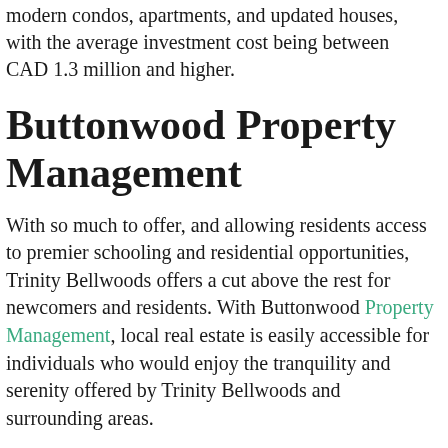modern condos, apartments, and updated houses, with the average investment cost being between CAD 1.3 million and higher.
Buttonwood Property Management
With so much to offer, and allowing residents access to premier schooling and residential opportunities, Trinity Bellwoods offers a cut above the rest for newcomers and residents. With Buttonwood Property Management, local real estate is easily accessible for individuals who would enjoy the tranquility and serenity offered by Trinity Bellwoods and surrounding areas.